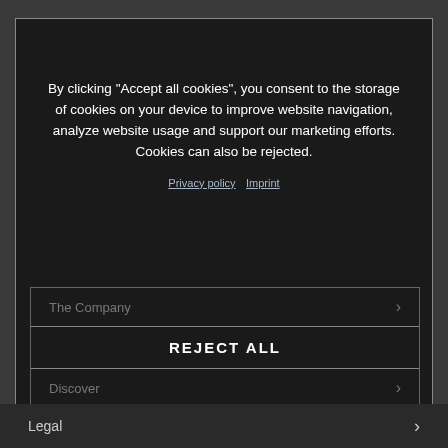By clicking “Accept all cookies”, you consent to the storage of cookies on your device to improve website navigation, analyze website usage and support our marketing efforts. Cookies can also be rejected.
Privacy policy  Imprint
The Company
REJECT ALL
Discover
ACCEPT ALL COOKIES
Legal